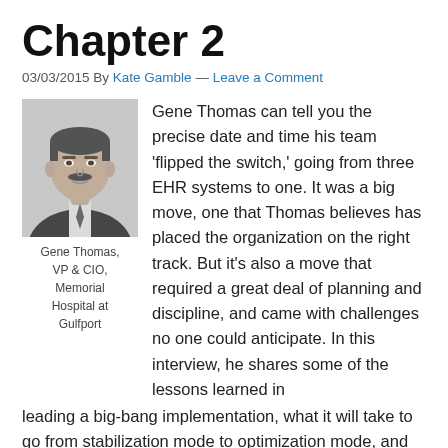Chapter 2
03/03/2015 By Kate Gamble — Leave a Comment
[Figure (photo): Black and white headshot portrait of Gene Thomas, a middle-aged man in a suit and tie with a mustache]
Gene Thomas, VP & CIO, Memorial Hospital at Gulfport
Gene Thomas can tell you the precise date and time his team 'flipped the switch,' going from three EHR systems to one. It was a big move, one that Thomas believes has placed the organization on the right track. But it's also a move that required a great deal of planning and discipline, and came with challenges no one could anticipate. In this interview, he shares some of the lessons learned in leading a big-bang implementation, what it will take to go from stabilization mode to optimization mode, and the many hats CIOs must wear. Thomas also talks about the his team's big plans for analytics (and what they're doing to set the stage), his thoughts on patient engagement,